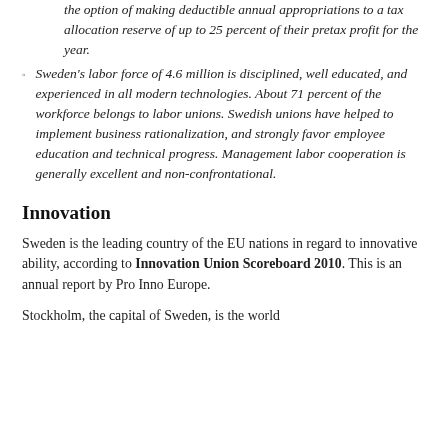the option of making deductible annual appropriations to a tax allocation reserve of up to 25 percent of their pretax profit for the year.
Sweden's labor force of 4.6 million is disciplined, well educated, and experienced in all modern technologies. About 71 percent of the workforce belongs to labor unions. Swedish unions have helped to implement business rationalization, and strongly favor employee education and technical progress. Management labor cooperation is generally excellent and non-confrontational.
Innovation
Sweden is the leading country of the EU nations in regard to innovative ability, according to Innovation Union Scoreboard 2010. This is an annual report by Pro Inno Europe.
Stockholm, the capital of Sweden, is the world